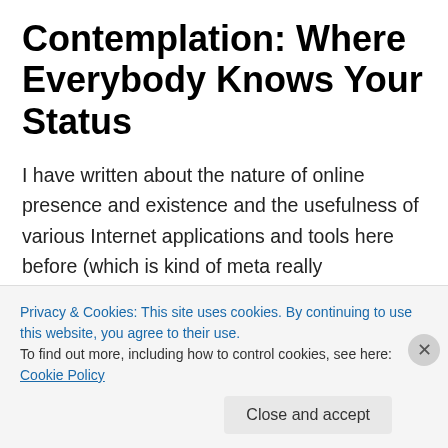Contemplation: Where Everybody Knows Your Status
I have written about the nature of online presence and existence and the usefulness of various Internet applications and tools here before (which is kind of meta really considering that this, being a blog, happens to be just one such application of Internet use).  Still I constantly seem to find myself with new things to consider and think about in regards to an increasingly online population and
Privacy & Cookies: This site uses cookies. By continuing to use this website, you agree to their use.
To find out more, including how to control cookies, see here: Cookie Policy
Close and accept